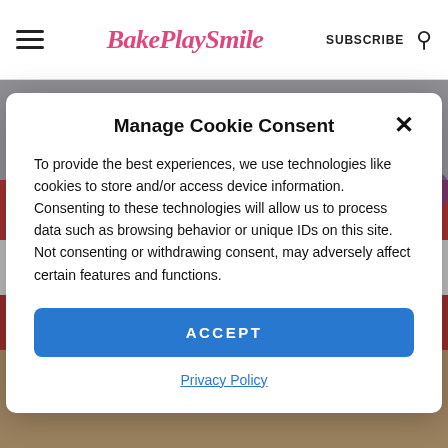BakePlaySmile — SUBSCRIBE
[Figure (photo): Close-up photo of layered jelly/cheesecake slices with red, pink, and white layers on a biscuit base, partially obscured by the cookie consent modal overlay.]
Manage Cookie Consent
To provide the best experiences, we use technologies like cookies to store and/or access device information. Consenting to these technologies will allow us to process data such as browsing behavior or unique IDs on this site. Not consenting or withdrawing consent, may adversely affect certain features and functions.
ACCEPT
Privacy Policy